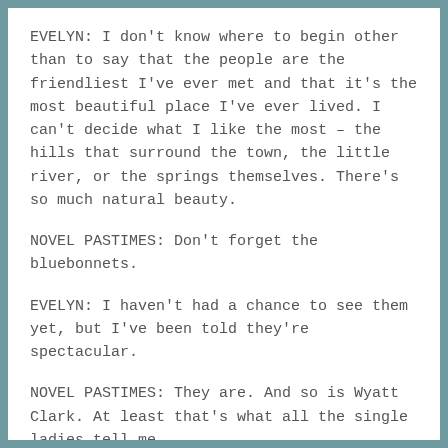EVELYN: I don't know where to begin other than to say that the people are the friendliest I've ever met and that it's the most beautiful place I've ever lived. I can't decide what I like the most – the hills that surround the town, the little river, or the springs themselves. There's so much natural beauty.
NOVEL PASTIMES: Don't forget the bluebonnets.
EVELYN: I haven't had a chance to see them yet, but I've been told they're spectacular.
NOVEL PASTIMES: They are. And so is Wyatt Clark. At least that's what all the single ladies tell me.